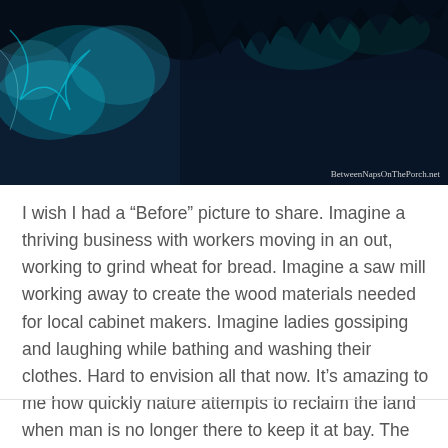[Figure (photo): Dark blue-toned photo of trees or vegetation with teal/cyan foliage highlights against a dark background. Watermark reads BetweenNapsOnThePorch.net in bottom right corner.]
I wish I had a “Before” picture to share. Imagine a thriving business with workers moving in an out, working to grind wheat for bread. Imagine a saw mill working away to create the wood materials needed for local cabinet makers. Imagine ladies gossiping and laughing while bathing and washing their clothes. Hard to envision all that now. It’s amazing to me how quickly nature attempts to reclaim the land when man is no longer there to keep it at bay. The high humidity of the area has sped the process up even faster.